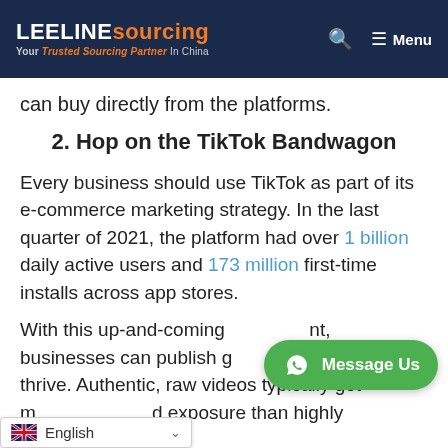LEELINE sourcing - Your Trusted Sourcing Partner In China
can buy directly from the platforms.
2. Hop on the TikTok Bandwagon
Every business should use TikTok as part of its e-commerce marketing strategy. In the last quarter of 2021, the platform had over 1 billion daily active users and 173 million first-time installs across app stores.
With this up-and-coming [overlay] nt, businesses can publish g[overlay]d thrive. Authentic, raw videos typically get m[overlay]d exposure than highly